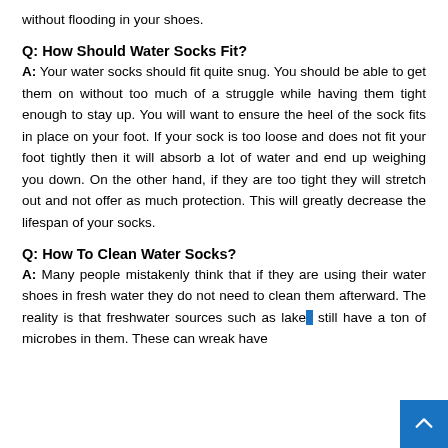without flooding in your shoes.
Q: How Should Water Socks Fit?
A: Your water socks should fit quite snug. You should be able to get them on without too much of a struggle while having them tight enough to stay up. You will want to ensure the heel of the sock fits in place on your foot. If your sock is too loose and does not fit your foot tightly then it will absorb a lot of water and end up weighing you down. On the other hand, if they are too tight they will stretch out and not offer as much protection. This will greatly decrease the lifespan of your socks.
Q: How To Clean Water Socks?
A: Many people mistakenly think that if they are using their water shoes in fresh water they do not need to clean them afterward. The reality is that freshwater sources such as lakes still have a ton of microbes in them. These can wreak have...